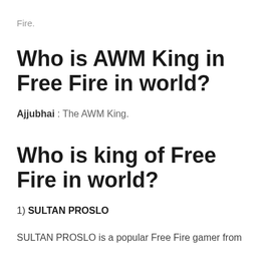Fire.
Who is AWM King in Free Fire in world?
Ajjubhai : The AWM King.
Who is king of Free Fire in world?
1) SULTAN PROSLO
SULTAN PROSLO is a popular Free Fire gamer from